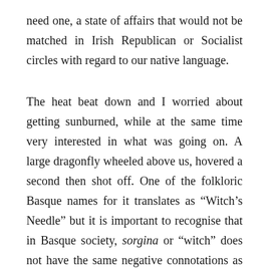need one, a state of affairs that would not be matched in Irish Republican or Socialist circles with regard to our native language.
The heat beat down and I worried about getting sunburned, while at the same time very interested in what was going on. A large dragonfly wheeled above us, hovered a second then shot off. One of the folkloric Basque names for it translates as “Witch’s Needle” but it is important to recognise that in Basque society, sorgina or “witch” does not have the same negative connotations as can be found in much of western society, even today.
“THE STRUGGLE MUST CONTINUE — IN ONE FORM OR ANOTHER”